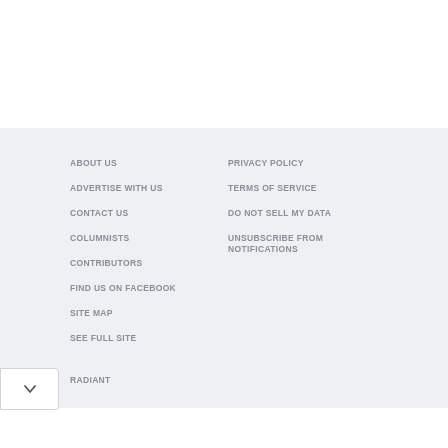ABOUT US
ADVERTISE WITH US
CONTACT US
COLUMNISTS
CONTRIBUTORS
FIND US ON FACEBOOK
SITE MAP
SEE FULL SITE
PRIVACY POLICY
TERMS OF SERVICE
DO NOT SELL MY DATA
UNSUBSCRIBE FROM NOTIFICATIONS
RADIANT